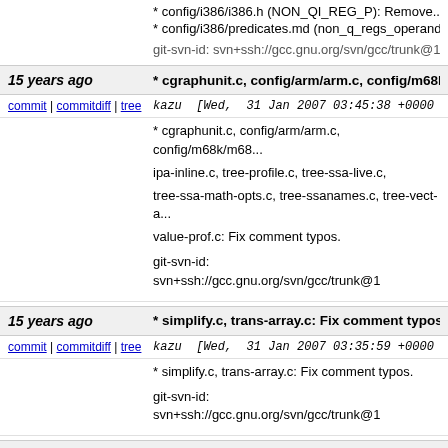* config/i386/i386.h (NON_QI_REG_P): Remove...
* config/i386/predicates.md (non_q_regs_operand...
git-svn-id: svn+ssh://gcc.gnu.org/svn/gcc/trunk@1
15 years ago  * cgraphunit.c, config/arm/arm.c, config/m68k/m...
commit | commitdiff | tree  kazu [Wed, 31 Jan 2007 03:45:38 +0000 (0...
* cgraphunit.c, config/arm/arm.c, config/m68k/m68... ipa-inline.c, tree-profile.c, tree-ssa-live.c, tree-ssa-math-opts.c, tree-ssanames.c, tree-vect-a... value-prof.c: Fix comment typos.

git-svn-id: svn+ssh://gcc.gnu.org/svn/gcc/trunk@1
15 years ago  * simplify.c, trans-array.c: Fix comment typos.
commit | commitdiff | tree  kazu [Wed, 31 Jan 2007 03:35:59 +0000 (0...
* simplify.c, trans-array.c: Fix comment typos.

git-svn-id: svn+ssh://gcc.gnu.org/svn/gcc/trunk@1
15 years ago  * class.c, jcf-parse.c: Fix comment typos.
commit | commitdiff | tree  kazu [Wed, 31 Jan 2007 03:33:15 +0000 (0...